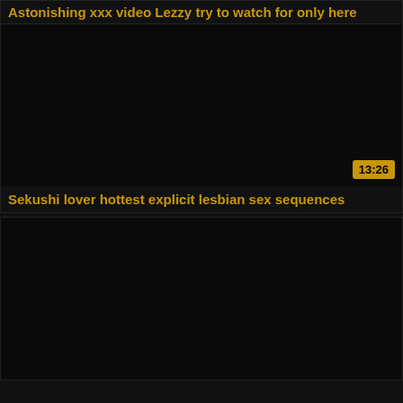Astonishing xxx video Lezzy try to watch for only here
[Figure (screenshot): Dark/black video thumbnail for first video]
13:26
Sekushi lover hottest explicit lesbian sex sequences
[Figure (screenshot): Dark/black video thumbnail for second video]